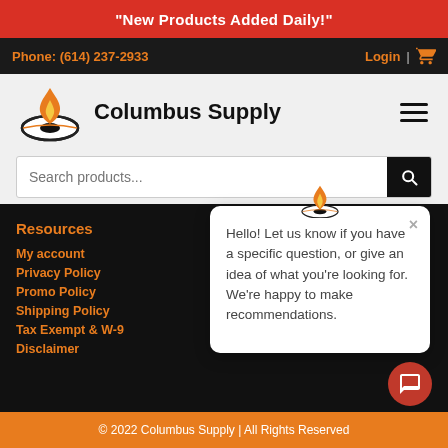"New Products Added Daily!"
Phone: (614) 237-2933
Login | [cart icon]
[Figure (logo): Columbus Supply flame logo with oval base, orange flame, company name 'Columbus Supply']
Search products...
Resources
My account
Privacy Policy
Promo Policy
Shipping Policy
Tax Exempt & W-9
Disclaimer
Hello! Let us know if you have a specific question, or give an idea of what you're looking for. We're happy to make recommendations.
© 2022 Columbus Supply | All Rights Reserved